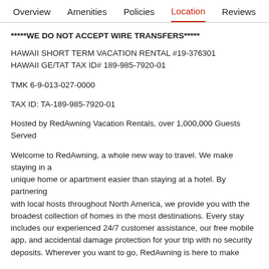Overview   Amenities   Policies   Location   Reviews
*****WE DO NOT ACCEPT WIRE TRANSFERS*****
HAWAII SHORT TERM VACATION RENTAL #19-376301
HAWAII GE/TAT TAX ID# 189-985-7920-01
TMK 6-9-013-027-0000
TAX ID: TA-189-985-7920-01
Hosted by RedAwning Vacation Rentals, over 1,000,000 Guests Served
Welcome to RedAwning, a whole new way to travel. We make staying in a unique home or apartment easier than staying at a hotel. By partnering with local hosts throughout North America, we provide you with the broadest collection of homes in the most destinations. Every stay includes our experienced 24/7 customer assistance, our free mobile app, and accidental damage protection for your trip with no security deposits. Wherever you want to go, RedAwning is here to make